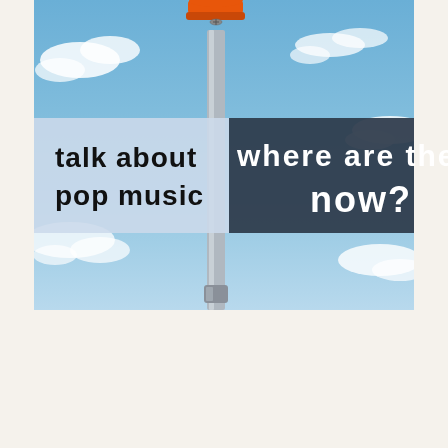[Figure (illustration): A book cover or blog header image showing a metal pole with an orange street bollard/sign topper against a blue sky with white clouds. Overlaid text on the left reads 'talk about pop music' in bold black on a light blue/white background, and on the right reads 'where are they now?' in large bold white text on a dark navy/slate background.]